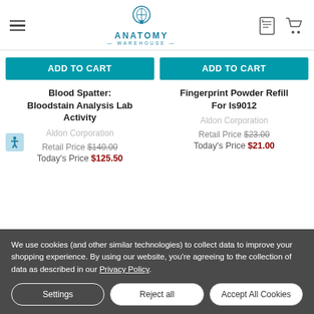[Figure (logo): Anatomy Warehouse logo with brain icon and teal text]
ADD TO CART
Blood Spatter: Bloodstain Analysis Lab Activity
Aldon Corporation
Retail Price $140.00
Today's Price $125.50
ADD TO CART
Fingerprint Powder Refill For Is9012
Aldon Corporation
Retail Price $23.00
Today's Price $21.00
We use cookies (and other similar technologies) to collect data to improve your shopping experience. By using our website, you're agreeing to the collection of data as described in our Privacy Policy.
Settings
Reject all
Accept All Cookies